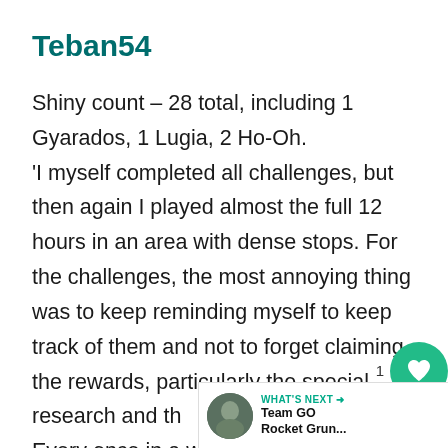Teban54
Shiny count – 28 total, including 1 Gyarados, 1 Lugia, 2 Ho-Oh.
'I myself completed all challenges, but then again I played almost the full 12 hours in an area with dense stops. For the challenges, the most annoying thing was to keep reminding myself to keep track of them and not to forget claiming the rewards, particularly the special research and the trainer battles. Every once in a while I got too into shiny checking and catching, then forget I actually still need to send gifts with a sticker or the trainer. It's why I finished the Celebi research quite